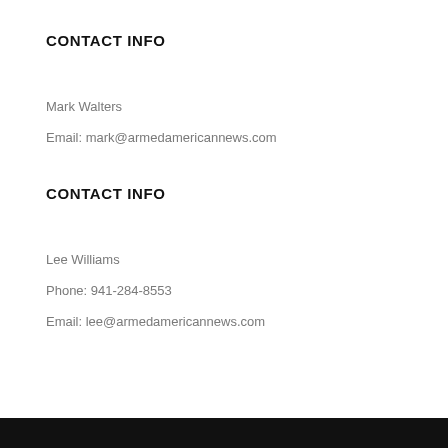CONTACT INFO
Mark Walters
Email: mark@armedamericannews.com
CONTACT INFO
Lee Williams
Phone: 941-284-8553
Email: lee@armedamericannews.com